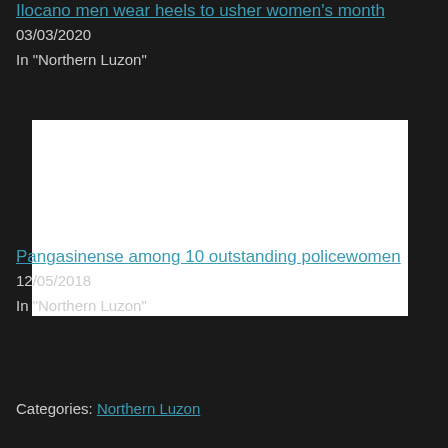Ilocano men wear heels to usher women's month
03/03/2020
In "Northern Luzon"
[Figure (photo): White/blank image placeholder]
Pangasinense among 10 outstanding policewomen
12/05/2018
In "Northern Luzon"
Categories: Northern Luzon